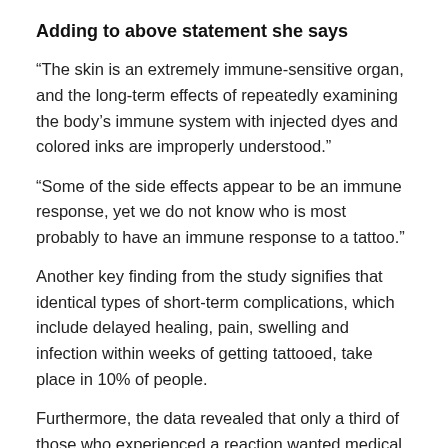Adding to above statement she says
“The skin is an extremely immune-sensitive organ, and the long-term effects of repeatedly examining the body’s immune system with injected dyes and colored inks are improperly understood.”
“Some of the side effects appear to be an immune response, yet we do not know who is most probably to have an immune response to a tattoo.”
Another key finding from the study signifies that identical types of short-term complications, which include delayed healing, pain, swelling and infection within weeks of getting tattooed, take place in 10% of people.
Furthermore, the data revealed that only a third of those who experienced a reaction wanted medical advice or assistance. Many instead, re-visited the tattoo